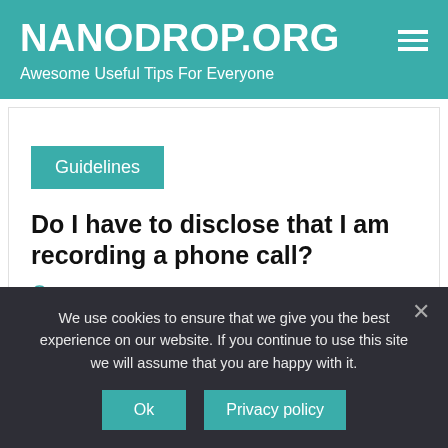NANODROP.ORG — Awesome Useful Tips For Everyone
Guidelines
Do I have to disclose that I am recording a phone call?
Posted on 04/01/2019
We use cookies to ensure that we give you the best experience on our website. If you continue to use this site we will assume that you are happy with it.